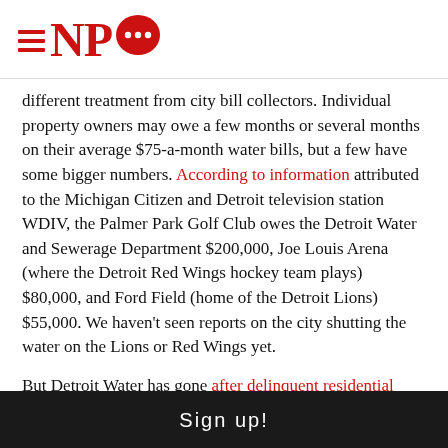NPQ logo with hamburger menu icon
different treatment from city bill collectors. Individual property owners may owe a few months or several months on their average $75-a-month water bills, but a few have some bigger numbers. According to information attributed to the Michigan Citizen and Detroit television station WDIV, the Palmer Park Golf Club owes the Detroit Water and Sewerage Department $200,000, Joe Louis Arena (where the Detroit Red Wings hockey team plays) $80,000, and Ford Field (home of the Detroit Lions) $55,000. We haven’t seen reports on the city shutting the water on the Lions or Red Wings yet.
But Detroit Water has gone after delinquent residential customers like Nicole Hill, a single mother with three children whose water has been turned off.
Sign up!